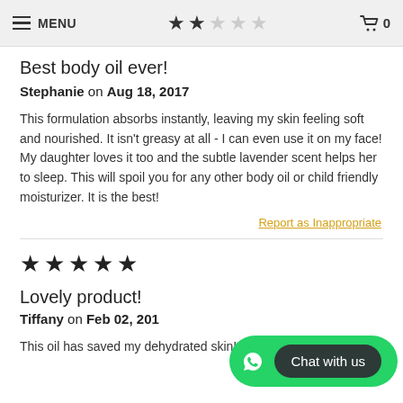MENU | ★★☆☆☆ | Cart 0
Best body oil ever!
Stephanie on Aug 18, 2017
This formulation absorbs instantly, leaving my skin feeling soft and nourished. It isn't greasy at all - I can even use it on my face! My daughter loves it too and the subtle lavender scent helps her to sleep. This will spoil you for any other body oil or child friendly moisturizer. It is the best!
Report as Inappropriate
[Figure (other): 5 filled stars rating]
Lovely product!
Tiffany on Feb 02, 201...
This oil has saved my dehydrated skin! After
[Figure (other): Chat with us WhatsApp overlay button]